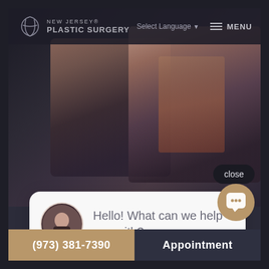[Figure (screenshot): New Jersey Plastic Surgery website screenshot showing a navigation bar with logo, 'Select Language' dropdown, and MENU button. A hero image shows a model with dark makeup and a hand/glove composition. A chat widget popup shows 'Hello! What can we help you with?' with an avatar. A 'close' button is visible. Bottom bar has phone number and appointment button.]
NEW JERSEY® PLASTIC SURGERY
Select Language
MENU
close
Hello! What can we help you with?
(973) 381-7390
Appointment